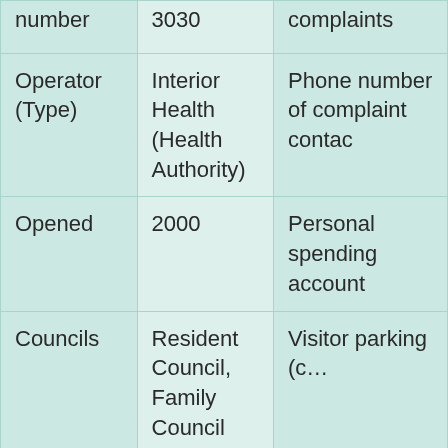| Field | Value | Detail |
| --- | --- | --- |
| number | 3030 | complaints |
| Operator (Type) | Interior Health (Health Authority) | Phone number of complaint contact |
| Opened | 2000 | Personal spending account |
| Councils | Resident Council, Family Council | Visitor parking (c… |
| Meetings held | Regular Schedule | Average Wait Time… |